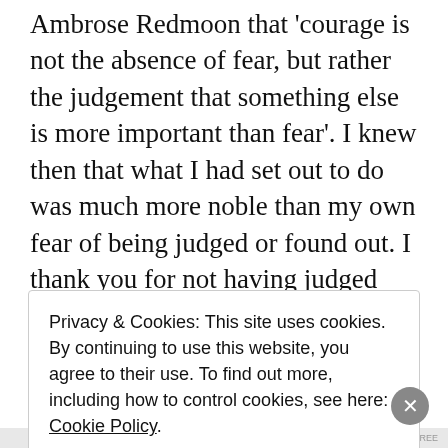Ambrose Redmoon that 'courage is not the absence of fear, but rather the judgement that something else is more important than fear'. I knew then that what I had set out to do was much more noble than my own fear of being judged or found out. I thank you for not having judged me, for being civil even when we have different perspectives on a subject. And it is a paradox that now, my posts and your comments
Privacy & Cookies: This site uses cookies. By continuing to use this website, you agree to their use. To find out more, including how to control cookies, see here: Cookie Policy
Close and accept